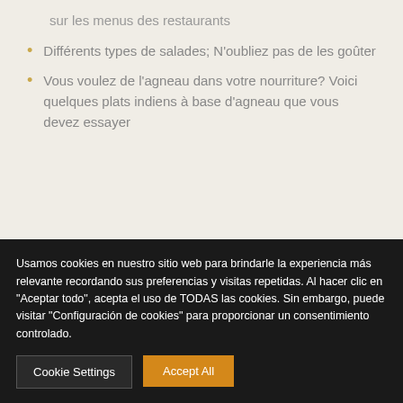sur les menus des restaurants
Différents types de salades; N'oubliez pas de les goûter
Vous voulez de l'agneau dans votre nourriture? Voici quelques plats indiens à base d'agneau que vous devez essayer
Usamos cookies en nuestro sitio web para brindarle la experiencia más relevante recordando sus preferencias y visitas repetidas. Al hacer clic en "Aceptar todo", acepta el uso de TODAS las cookies. Sin embargo, puede visitar "Configuración de cookies" para proporcionar un consentimiento controlado.
Cookie Settings
Accept All